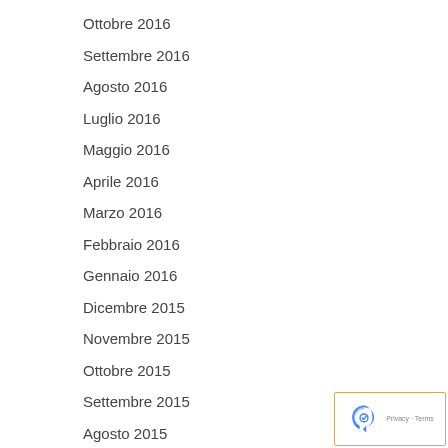Ottobre 2016
Settembre 2016
Agosto 2016
Luglio 2016
Maggio 2016
Aprile 2016
Marzo 2016
Febbraio 2016
Gennaio 2016
Dicembre 2015
Novembre 2015
Ottobre 2015
Settembre 2015
Agosto 2015